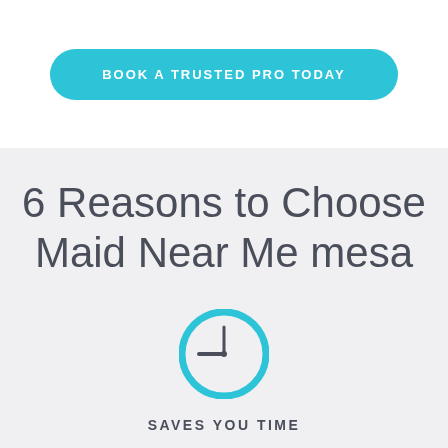BOOK A TRUSTED PRO TODAY
6 Reasons to Choose Maid Near Me mesa
[Figure (illustration): A circular clock icon with a cyan/teal border and clock hands pointing to approximately 9 o'clock, on a light gray background.]
SAVES YOU TIME